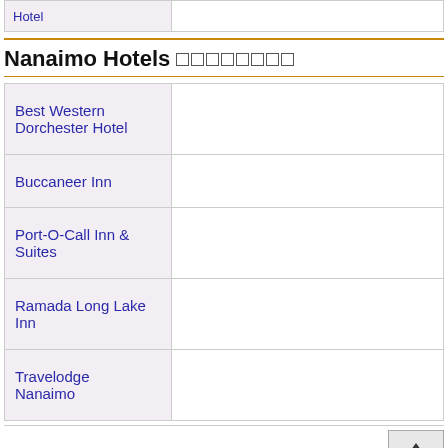| Hotel |  |
| --- | --- |
|  |  |
Nanaimo Hotels
|  |  |
| --- | --- |
| Best Western Dorchester Hotel |  |
| Buccaneer Inn |  |
| Port-O-Call Inn & Suites |  |
| Ramada Long Lake Inn |  |
| Travelodge Nanaimo |  |
Parksville Hotels